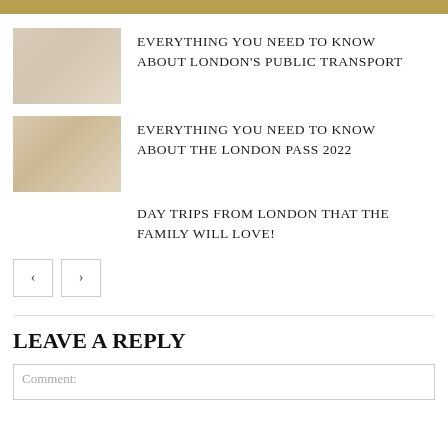RELATED ARTICLES
EVERYTHING YOU NEED TO KNOW ABOUT LONDON'S PUBLIC TRANSPORT
EVERYTHING YOU NEED TO KNOW ABOUT THE LONDON PASS 2022
DAY TRIPS FROM LONDON THAT THE FAMILY WILL LOVE!
LEAVE A REPLY
Comment: